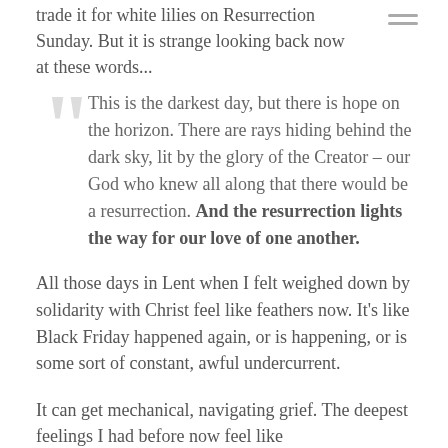trade it for white lilies on Resurrection Sunday. But it is strange looking back now at these words...
This is the darkest day, but there is hope on the horizon. There are rays hiding behind the dark sky, lit by the glory of the Creator – our God who knew all along that there would be a resurrection. And the resurrection lights the way for our love of one another.
All those days in Lent when I felt weighed down by solidarity with Christ feel like feathers now. It's like Black Friday happened again, or is happening, or is some sort of constant, awful undercurrent.
It can get mechanical, navigating grief. The deepest feelings I had before now feel like